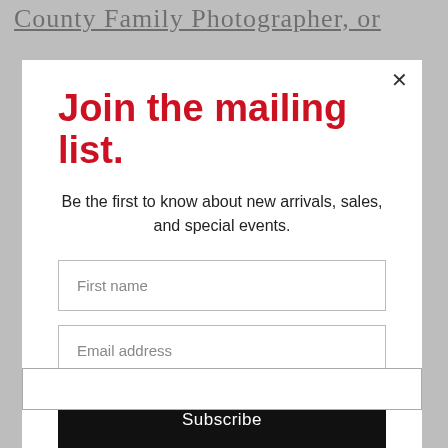County Family Photographer, or
[Figure (screenshot): Modal dialog overlay with mailing list signup form containing title 'Join the mailing list.', subtitle text, First name input, Email address input, and Subscribe button]
AUDREY  STUDIO NEWBORN